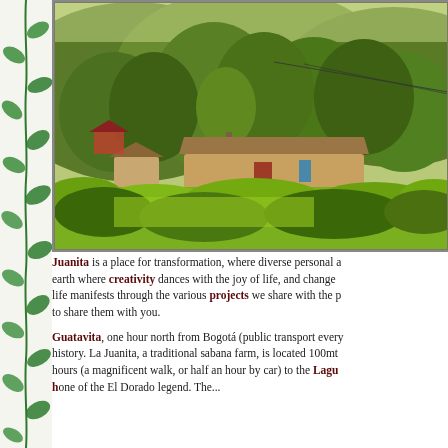[Figure (photo): Scenic view of La Juanita farm in Guatavita, Colombia, showing traditional low farm buildings amid lush green vegetation with forested hills in the background.]
Juanita is a place for transformation, where diverse personal and earth where creativity dances with the joy of life, and change life manifests through the various projects we share with the p to share them with you.
Guatavita, one hour north from Bogotá (public transport every history. La Juanita, a traditional sabana farm, is located 100mt hours (a magnificent walk, or half an hour by car) to the Lagu hone of the El Dorado legend. The...